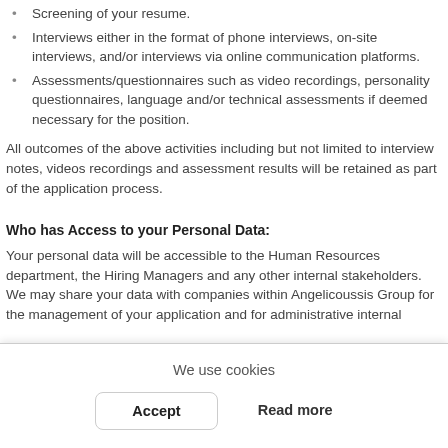Screening of your resume.
Interviews either in the format of phone interviews, on-site interviews, and/or interviews via online communication platforms.
Assessments/questionnaires such as video recordings, personality questionnaires, language and/or technical assessments if deemed necessary for the position.
All outcomes of the above activities including but not limited to interview notes, videos recordings and assessment results will be retained as part of the application process.
Who has Access to your Personal Data:
Your personal data will be accessible to the Human Resources department, the Hiring Managers and any other internal stakeholders. We may share your data with companies within Angelicoussis Group for the management of your application and for administrative internal purposes. We may also share your information with third party provider...
We use cookies
Accept
Read more